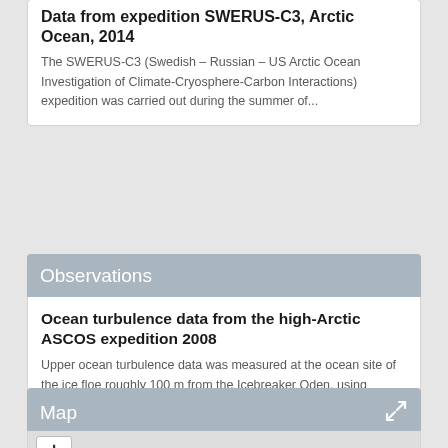Data from expedition SWERUS-C3, Arctic Ocean, 2014
The SWERUS-C3 (Swedish – Russian – US Arctic Ocean Investigation of Climate-Cryosphere-Carbon Interactions) expedition was carried out during the summer of...
Observations
Ocean turbulence data from the high-Arctic ASCOS expedition 2008
Upper ocean turbulence data was measured at the ocean site of the ice floe roughly 100 m from the Icebreaker Oden, using instruments mounted in a tower...
Map